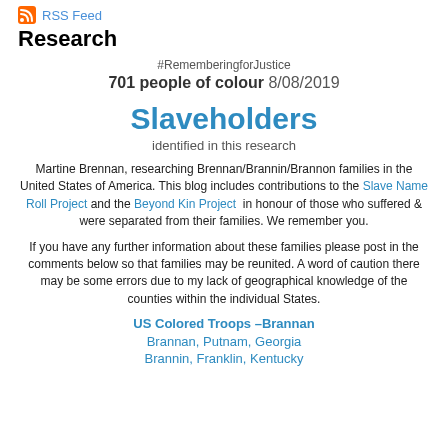RSS Feed
Research
#RememberingforJustice
701 people of colour 8/08/2019
Slaveholders
identified in this research
Martine Brennan, researching Brennan/Brannin/Brannon families in the United States of America. This blog includes contributions to the Slave Name Roll Project and the Beyond Kin Project in honour of those who suffered & were separated from their families. We remember you.
If you have any further information about these families please post in the comments below so that families may be reunited. A word of caution there may be some errors due to my lack of geographical knowledge of the counties within the individual States.
US Colored Troops –Brannan
Brannan, Putnam, Georgia
Brannin, Franklin, Kentucky